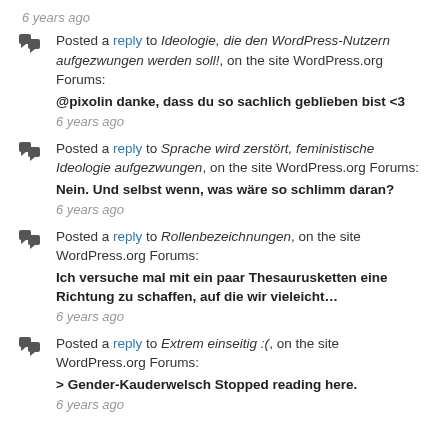6 years ago
Posted a reply to Ideologie, die den WordPress-Nutzern aufgezwungen werden soll!, on the site WordPress.org Forums:
@pixolin danke, dass du so sachlich geblieben bist <3
6 years ago
Posted a reply to Sprache wird zerstört, feministische Ideologie aufgezwungen, on the site WordPress.org Forums:
Nein. Und selbst wenn, was wäre so schlimm daran?
6 years ago
Posted a reply to Rollenbezeichnungen, on the site WordPress.org Forums:
Ich versuche mal mit ein paar Thesaurusketten eine Richtung zu schaffen, auf die wir vieleicht…
6 years ago
Posted a reply to Extrem einseitig :(, on the site WordPress.org Forums:
> Gender-Kauderwelsch Stopped reading here.
6 years ago